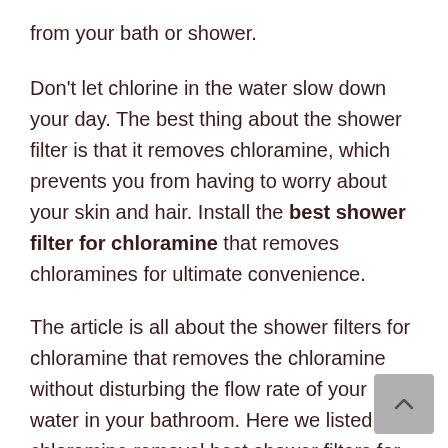from your bath or shower.
Don’t let chlorine in the water slow down your day. The best thing about the shower filter is that it removes chloramine, which prevents you from having to worry about your skin and hair. Install the best shower filter for chloramine that removes chloramines for ultimate convenience.
The article is all about the shower filters for chloramine that removes the chloramine without disturbing the flow rate of your water in your bathroom. Here we listed the chloramine removal best shower filters for your review.